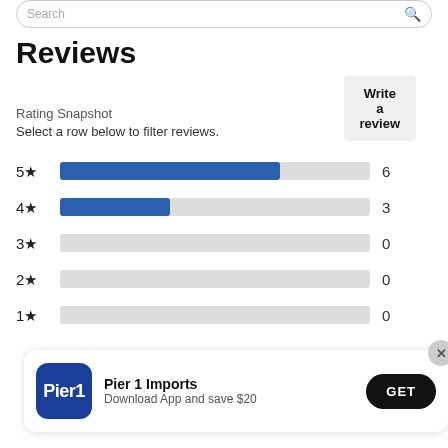Reviews
Write a review
Rating Snapshot
Select a row below to filter reviews.
[Figure (bar-chart): Rating Snapshot]
[Figure (infographic): Pier 1 Imports app download banner with logo, text 'Download App and save $20', and GET button]